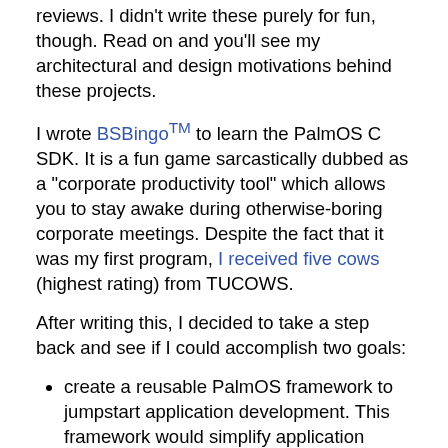reviews. I didn't write these purely for fun, though. Read on and you'll see my architectural and design motivations behind these projects.
I wrote BSBingo™ to learn the PalmOS C SDK. It is a fun game sarcastically dubbed as a "corporate productivity tool" which allows you to stay awake during otherwise-boring corporate meetings. Despite the fact that it was my first program, I received five cows (highest rating) from TUCOWS.
After writing this, I decided to take a step back and see if I could accomplish two goals:
create a reusable PalmOS framework to jumpstart application development. This framework would simplify application setup and event handling and use the Memo Pad database for persistence.
leverage the Model-View-Controller pattern to create reusable C++ model code which would be platform indepenent (Win32, Windows CE, PalmOS, etc.)
I developed the PalmOS framework and then built Num-Num™ and the Triangle Puzzle on top of it. I also took my same model code and created Win32 and Windows CE applications. This required a lot of skill because Windows...